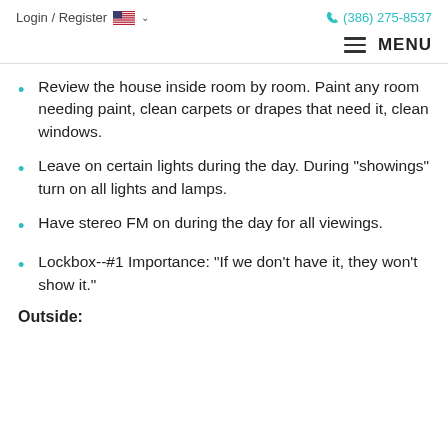Login / Register  🇺🇸 ∨   (386) 275-8537
Review the house inside room by room. Paint any room needing paint, clean carpets or drapes that need it, clean windows.
Leave on certain lights during the day. During "showings" turn on all lights and lamps.
Have stereo FM on during the day for all viewings.
Lockbox--#1 Importance: "If we don't have it, they won't show it."
Outside: